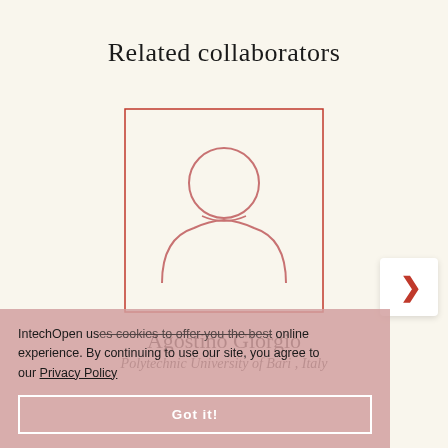Related collaborators
[Figure (illustration): Placeholder avatar icon inside a red-outlined square box — outline of a person (head circle and shoulders) drawn in red/salmon lines on a cream background.]
Agostino Giorgio
Polytechnic University of Bari , Italy
IntechOpen uses cookies to offer you the best online experience. By continuing to use our site, you agree to our Privacy Policy
Got it!